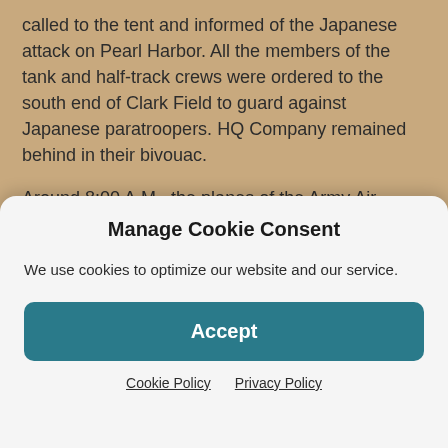called to the tent and informed of the Japanese attack on Pearl Harbor. All the members of the tank and half-track crews were ordered to the south end of Clark Field to guard against Japanese paratroopers. HQ Company remained behind in their bivouac.
Around 8:00 A.M., the planes of the Army Air Corps took off and filled the sky. At noon the planes landed and were lined up in a straight line to be refueled near the pilots' mess hall. While the planes were being worked on, the pilots went to lunch. At 12:45 in the afternoon on December 8, 1941, just ten hours after the attack on Pearl
Manage Cookie Consent
We use cookies to optimize our website and our service.
Accept
Cookie Policy   Privacy Policy